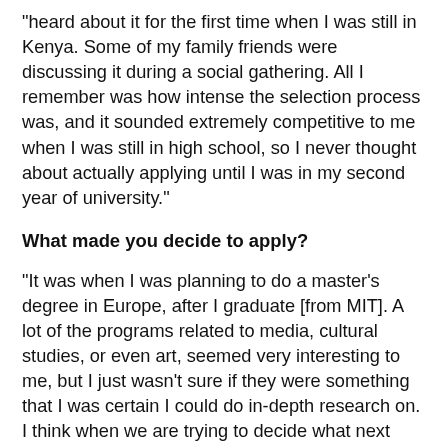"heard about it for the first time when I was still in Kenya. Some of my family friends were discussing it during a social gathering. All I remember was how intense the selection process was, and it sounded extremely competitive to me when I was still in high school, so I never thought about actually applying until I was in my second year of university."
What made you decide to apply?
"It was when I was planning to do a master's degree in Europe, after I graduate [from MIT]. A lot of the programs related to media, cultural studies, or even art, seemed very interesting to me, but I just wasn't sure if they were something that I was certain I could do in-depth research on. I think when we are trying to decide what next step to take in our lives, we tend to look back at where we've been all this time, and I realised that I had already spent so many years abroad while learning so much (but never enough) about each culture and country I had immersed myself in, but I never actually had the chance to really dig in to the question "what is China really